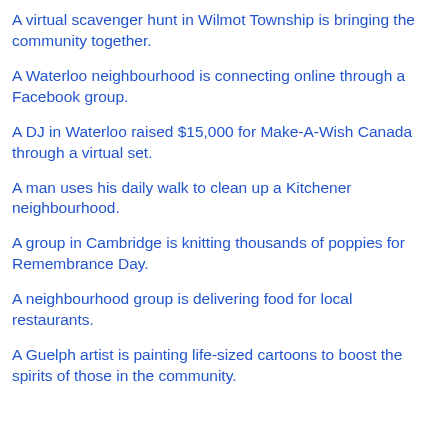A virtual scavenger hunt in Wilmot Township is bringing the community together.
A Waterloo neighbourhood is connecting online through a Facebook group.
A DJ in Waterloo raised $15,000 for Make-A-Wish Canada through a virtual set.
A man uses his daily walk to clean up a Kitchener neighbourhood.
A group in Cambridge is knitting thousands of poppies for Remembrance Day.
A neighbourhood group is delivering food for local restaurants.
A Guelph artist is painting life-sized cartoons to boost the spirits of those in the community.